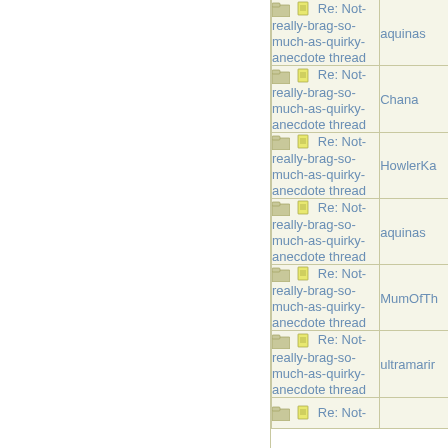| Topic | Author |
| --- | --- |
| Re: Not-really-brag-so-much-as-quirky-anecdote thread | aquinas |
| Re: Not-really-brag-so-much-as-quirky-anecdote thread | Chana |
| Re: Not-really-brag-so-much-as-quirky-anecdote thread | HowlerKa |
| Re: Not-really-brag-so-much-as-quirky-anecdote thread | aquinas |
| Re: Not-really-brag-so-much-as-quirky-anecdote thread | MumOfTh |
| Re: Not-really-brag-so-much-as-quirky-anecdote thread | ultramarir |
| Re: Not- |  |